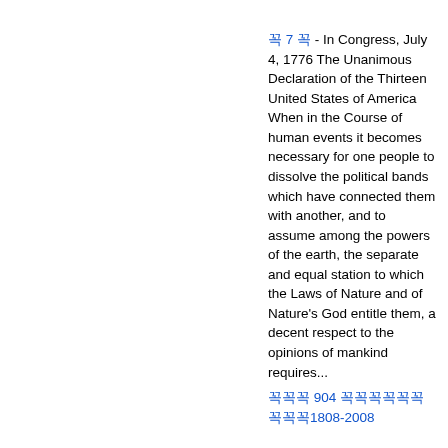꼭 7 꼭 - In Congress, July 4, 1776 The Unanimous Declaration of the Thirteen United States of America When in the Course of human events it becomes necessary for one people to dissolve the political bands which have connected them with another, and to assume among the powers of the earth, the separate and equal station to which the Laws of Nature and of Nature's God entitle them, a decent respect to the opinions of mankind requires...
꼭꼭꼭 904 꼭꼭꼭꼭꼭꼭꼭꼭꼭1808-2008